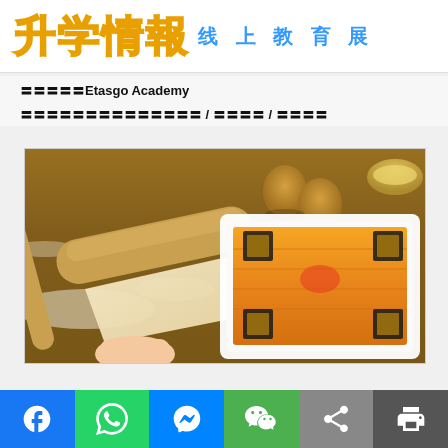升学情報 线上教育展
〓〓〓〓〓Etasgo Academy
〓〓〓〓〓〓〓〓〓〓〓〓〓〓 / 〓〓〓〓 / 〓〓〓〓
[Figure (photo): Photo of baking scene: a rolling pin rolling dough on a floured wooden surface, with eggs and a golden baked pastry dish on a white plate decorated with dark ornamental pieces.]
Facebook | WhatsApp | Messenger | WeChat | Share | Print